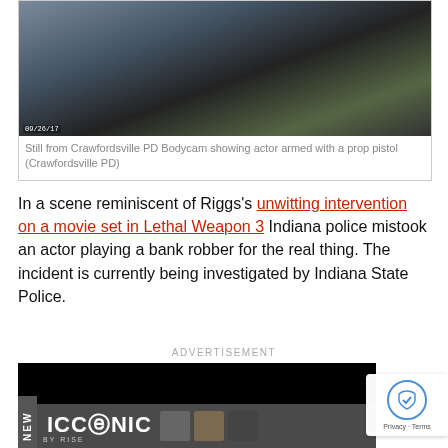[Figure (screenshot): Still from Crawfordsville PD Bodycam showing a street scene with a car and pedestrian, timestamp 09/26/17]
Still from Crawfordsville PD Bodycam showing actor armed with a prop pistol (Crawfordsville PD)
In a scene reminiscent of Riggs's unwitting intervention on a movie set in Lethal Weapon 3 Indiana police mistook an actor playing a bank robber for the real thing. The incident is currently being investigated by Indiana State Police.
ADVERTISEMENT
[Figure (screenshot): Advertisement banner for ICONIC by Rise with logo and product images on black background, with NEW badge on left side]